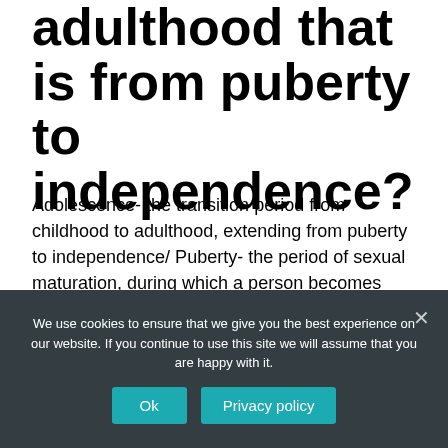adulthood that is from puberty to independence?
Adolescence- the transition period from childhood to adulthood, extending from puberty to independence/ Puberty- the period of sexual maturation, during which a person becomes capable of reproducing.
We use cookies to ensure that we give you the best experience on our website. If you continue to use this site we will assume that you are happy with it. Ok Privacy policy